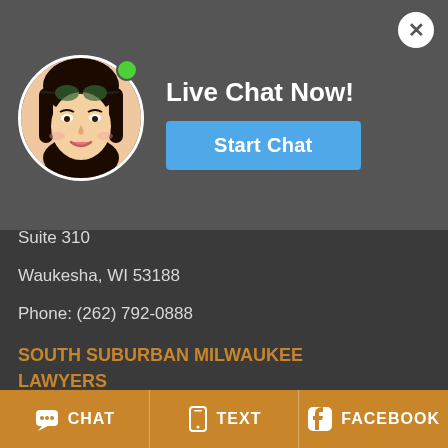[Figure (screenshot): Live chat popup overlay with avatar photo of a young woman, online green dot, 'Live Chat Now!' heading, blue 'Start Chat' button, and close X button]
WEST MILWAUKEE / WAUKESHA COUNTY LAWYERS
N14 W23833 Stone Ridge Dr.
Suite 310
Waukesha, WI 53188
Phone: (262) 792-0888
SOUTH SUBURBAN MILWAUKEE LAWYERS (NEAR SOUTHRIDGE)
Associated Bank Building
4811 South 76th Street
Suite 403
CHAT   TEXT   FACEBOOK